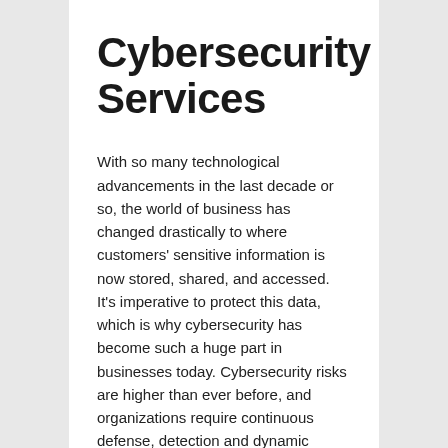Cybersecurity Services
With so many technological advancements in the last decade or so, the world of business has changed drastically to where customers' sensitive information is now stored, shared, and accessed. It's imperative to protect this data, which is why cybersecurity has become such a huge part in businesses today. Cybersecurity risks are higher than ever before, and organizations require continuous defense, detection and dynamic responses against evolving threats while maintaining industry compliance. Our CDW Amplified™ Security Services team evaluates your existing security posture and helps